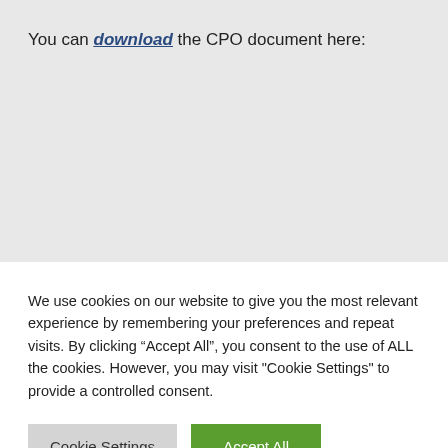You can download the CPO document here:
We use cookies on our website to give you the most relevant experience by remembering your preferences and repeat visits. By clicking “Accept All”, you consent to the use of ALL the cookies. However, you may visit "Cookie Settings" to provide a controlled consent.